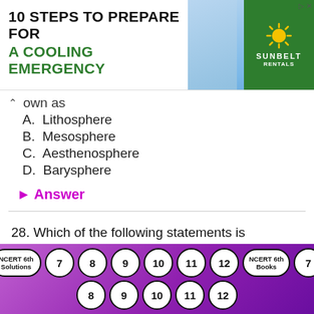[Figure (screenshot): Advertisement banner for '10 Steps to Prepare for a Cooling Emergency' by Sunbelt Rentals with worker image and green logo]
own as
A.  Lithosphere
B.  Mesosphere
C.  Aesthenosphere
D.  Barysphere
▶ Answer
28. Which of the following statements is incorrect?
[Figure (screenshot): Footer navigation bar with NCERT 6th Solutions and Books buttons and numbered circles 7-12]